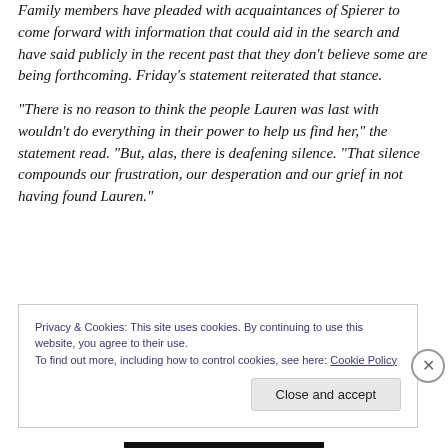Family members have pleaded with acquaintances of Spierer to come forward with information that could aid in the search and have said publicly in the recent past that they don't believe some are being forthcoming. Friday's statement reiterated that stance.
"There is no reason to think the people Lauren was last with wouldn't do everything in their power to help us find her," the statement read. "But, alas, there is deafening silence. "That silence compounds our frustration, our desperation and our grief in not having found Lauren."
Privacy & Cookies: This site uses cookies. By continuing to use this website, you agree to their use.
To find out more, including how to control cookies, see here: Cookie Policy